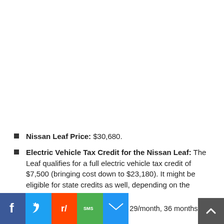Nissan Leaf Price: $30,680.
Electric Vehicle Tax Credit for the Nissan Leaf: The Leaf qualifies for a full electric vehicle tax credit of $7,500 (bringing cost down to $23,180). It might be eligible for state credits as well, depending on the state.
...29/month, 36 months, $2,799...